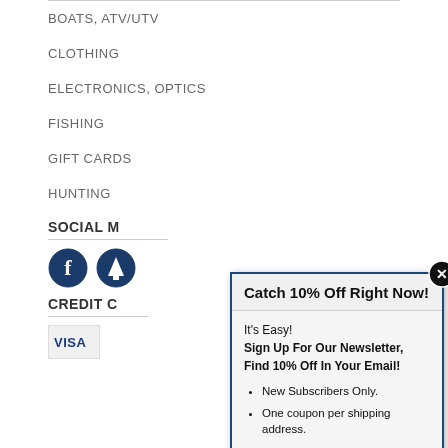BOATS, ATV/UTV
CLOTHING
ELECTRONICS, OPTICS
FISHING
GIFT CARDS
HUNTING
SOCIAL M...
[Figure (illustration): Facebook and another social media icon in dark blue circles]
CREDIT C...
[Figure (illustration): Visa credit card logo]
[Figure (infographic): Modal popup: Catch 10% Off Right Now! It's Easy! Sign Up For Our Newsletter, Find 10% Off In Your Email! New Subscribers Only. One coupon per shipping address.]